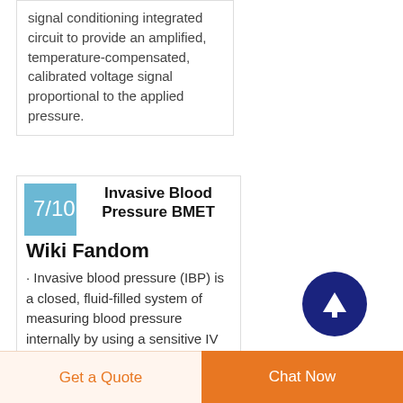signal conditioning integrated circuit to provide an amplified, temperature-compensated, calibrated voltage signal proportional to the applied pressure.
Invasive Blood Pressure BMET Wiki Fandom
· Invasive blood pressure (IBP) is a closed, fluid-filled system of measuring blood pressure internally by using a sensitive IV catheter inserted directly into an artery. This
Get a Quote
Chat Now